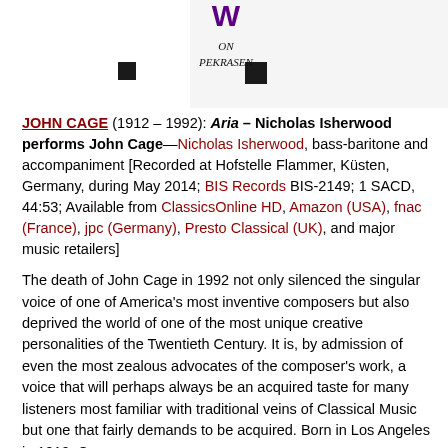[Figure (illustration): Partial album cover image showing a stylized purple/dark logo at top center and a small black square to the left, with text 'ON PEKRASEN' in decorative font below the logo. White and grey background with a vertical right border.]
JOHN CAGE (1912 – 1992): Aria – Nicholas Isherwood performs John Cage—Nicholas Isherwood, bass-baritone and accompaniment [Recorded at Hofstelle Flammer, Küsten, Germany, during May 2014; BIS Records BIS-2149; 1 SACD, 44:53; Available from ClassicsOnline HD, Amazon (USA), fnac (France), jpc (Germany), Presto Classical (UK), and major music retailers]
The death of John Cage in 1992 not only silenced the singular voice of one of America's most inventive composers but also deprived the world of one of the most unique creative personalities of the Twentieth Century. It is, by admission of even the most zealous advocates of the composer's work, a voice that will perhaps always be an acquired taste for many listeners most familiar with traditional veins of Classical Music but one that fairly demands to be acquired. Born in Los Angeles in 1912, Cage